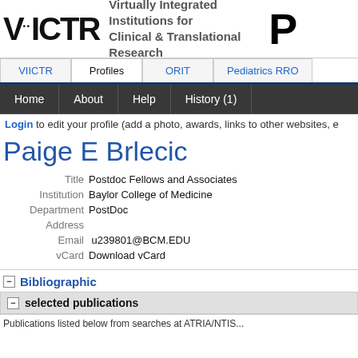VIICTR - Virtually Integrated Institutions for Clinical & Translational Research
VIICTR | Profiles | ORIT | Pediatrics RRO
Home | About | Help | History (1)
Login to edit your profile (add a photo, awards, links to other websites, e
Paige E Brlecic
| Field | Value |
| --- | --- |
| Title | Postdoc Fellows and Associates |
| Institution | Baylor College of Medicine |
| Department | PostDoc |
| Address |  |
| Email | u239801@BCM.EDU |
| vCard | Download vCard |
Bibliographic
selected publications
Publications listed below from searches at ATRIA/NTIS...